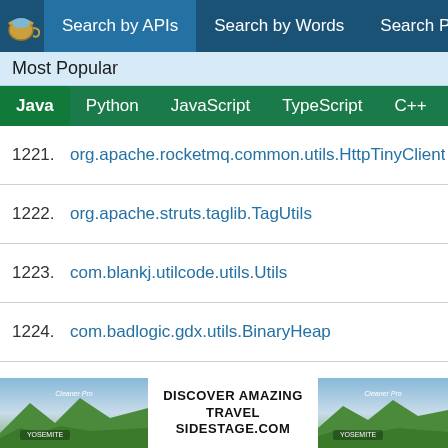Search by APIs | Search by Words | Search Projects
Most Popular
Java | Python | JavaScript | TypeScript | C++ | Scala
1221. org.apache.rocketmq.common.utils.HttpTinyClient
1222. org.apache.struts.taglib.TagUtils
1223. com.blankj.utilcode.utils.Utils
1224. com.badlogic.gdx.utils.BinaryHeap
1225. org.apache.hadoop.contrib.utils.join.DataJoinReducerBase
1226. cn.nukkit.utils.Zlib
1227. org.springframework.samples.petclinic.util.EntityUtils
1228. org.deeplearning4j.nn.layers.objdetect.YoloUtils
1229. com.ruoyi.common.utils.Threads
[Figure (other): Advertisement banner: DISCOVER AMAZING TRAVEL SIDESTAGE.COM with Yosemite landscape background images on left and right]